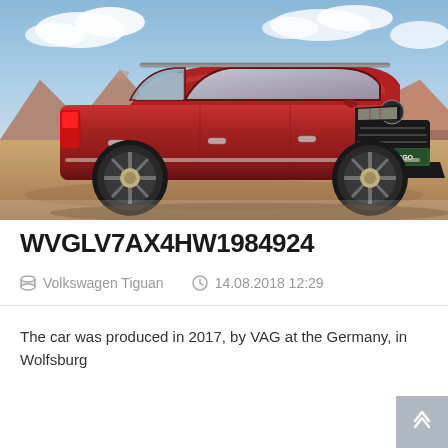[Figure (photo): Red Volkswagen Tiguan SUV parked on sandy desert ground with rocky mountains in background under partly cloudy sky]
WVGLV7AX4HW1984924
🗄 Volkswagen Tiguan   🕐 14.08.2018 12:29
The car was produced in 2017, by VAG at the Germany, in Wolfsburg